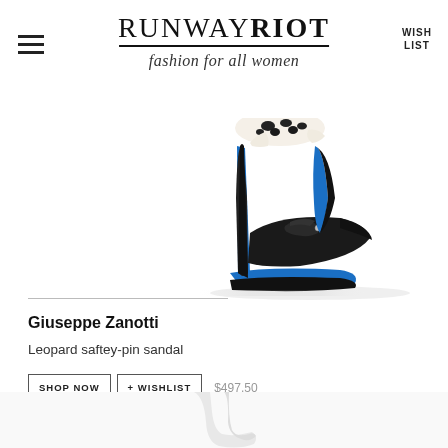RUNWAY RIOT — fashion for all women
[Figure (photo): Black high-heel sandal with leopard print ankle strap, blue sole/platform, and safety pin detail on the toe]
Giuseppe Zanotti
Leopard saftey-pin sandal
SHOP NOW   + WISHLIST   $497.50
[Figure (photo): Partial bottom preview of another product]